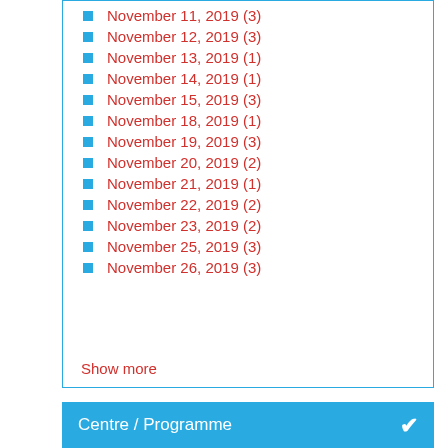November 11, 2019 (3)
November 12, 2019 (3)
November 13, 2019 (1)
November 14, 2019 (1)
November 15, 2019 (3)
November 18, 2019 (1)
November 19, 2019 (3)
November 20, 2019 (2)
November 21, 2019 (1)
November 22, 2019 (2)
November 23, 2019 (2)
November 25, 2019 (3)
November 26, 2019 (3)
Show more
Centre / Programme